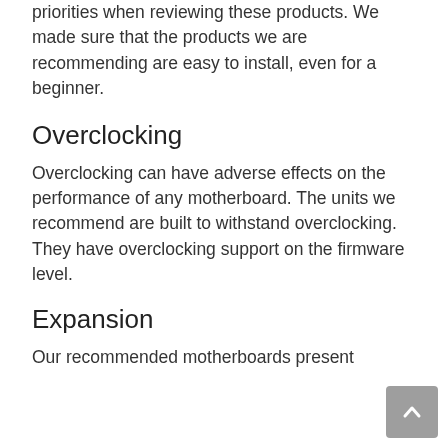priorities when reviewing these products. We made sure that the products we are recommending are easy to install, even for a beginner.
Overclocking
Overclocking can have adverse effects on the performance of any motherboard. The units we recommend are built to withstand overclocking. They have overclocking support on the firmware level.
Expansion
Our recommended motherboards present better support for expanded…